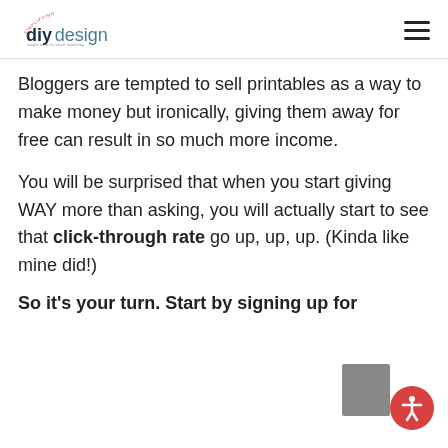simplifying diy design
Bloggers are tempted to sell printables as a way to make money but ironically, giving them away for free can result in so much more income.
You will be surprised that when you start giving WAY more than asking, you will actually start to see that click-through rate go up, up, up. (Kinda like mine did!)
So it's your turn. Start by signing up for